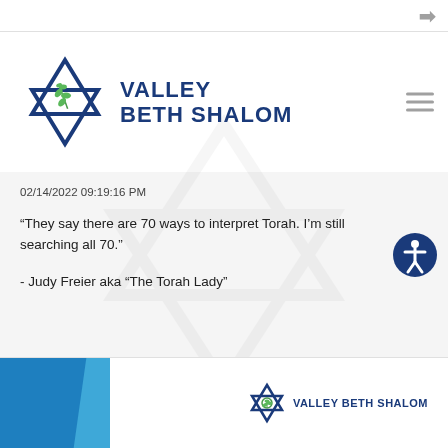[Figure (logo): Valley Beth Shalom logo with Star of David and olive branch, blue and green colors, with organization name in dark blue uppercase text]
02/14/2022 09:19:16 PM
“They say there are 70 ways to interpret Torah. I’m still searching all 70.”
- Judy Freier aka “The Torah Lady”
[Figure (logo): Valley Beth Shalom footer logo with small Star of David and organization name]